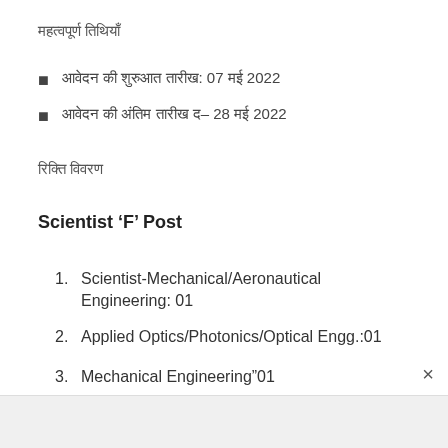महत्वपूर्ण तिथियां
आवेदन की शुरुआत तारीख: 07 मई 2022
आवेदन की अंतिम तारीख – 28 मई 2022
रिक्ति विवरण
Scientist 'F' Post
Scientist-Mechanical/Aeronautical Engineering: 01
Applied Optics/Photonics/Optical Engg.:01
Mechanical Engineering"01